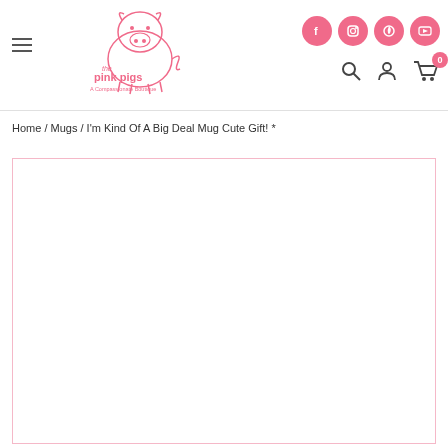[Figure (logo): The Pink Pigs - A Compassionate Boutique logo with pink pig illustration]
[Figure (illustration): Social media icons: Facebook, Instagram, Pinterest, YouTube - pink circles]
[Figure (illustration): Navigation icons: search, account, cart with badge showing 0]
Home / Mugs / I'm Kind Of A Big Deal Mug Cute Gift! *
[Figure (photo): Product image area - blank white bordered region for mug product photo]